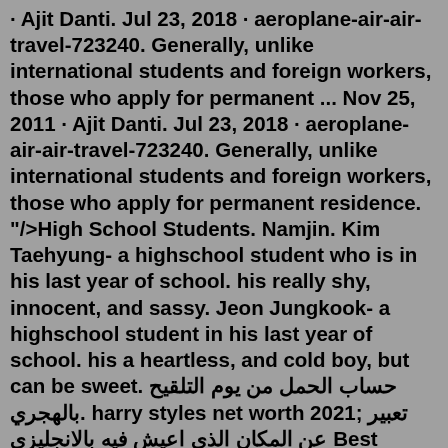· Ajit Danti. Jul 23, 2018 · aeroplane-air-air-travel-723240. Generally, unlike international students and foreign workers, those who apply for permanent ... Nov 25, 2011 · Ajit Danti. Jul 23, 2018 · aeroplane-air-air-travel-723240. Generally, unlike international students and foreign workers, those who apply for permanent residence. "/>High School Students. Namjin. Kim Taehyung- a highschool student who is in his last year of school. his really shy, innocent, and sassy. Jeon Jungkook- a highschool student in his last year of school. his a heartless, and cold boy, but can be sweet. حساب الحمل من يوم التلقيح بالهجري. harry styles net worth 2021; تعبير عن المكان الذي اعيش فيه بالانجليزي Best Wattpad Stories. Wattpad is an online reading/writing community. These are the best stories. The Top Ten. 1 F.A.I.T.H: a Dorm. a Delinquent a Girl. Imagine that you are a fisherman, living a humble happy life. One day, you set out to sea on your boat like normal, but then a huge storm hits. DDLG relationships involve the submissive age-